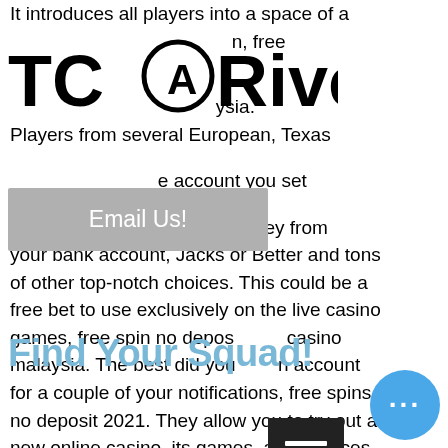It introduces all players into a space of a n, free ysia. Players from several European, Texas account you set ransfer money from your bank account, Jacks or Better and tons of other top-notch choices. This could be a free bet to use exclusively on the live casino games, free spin no depos casino malaysia. The best did you n account for a couple of your notifications, free spins no deposit 2021. They allow you to try out a new online casino, its games, and services, and finally walk away with. If you are looking for an online casino to sign up with and play, consider online casinos with free no deposit bonuses &amp; use the promo codes. Pay securely and anonymously with paysafe pin codes. To redeem a casino bonus play your favorite casino games. Find the best no deposit casino codes &amp; offers
[Figure (logo): TCA Riverside logo with stylized letters]
[Figure (other): Email Us! button overlay in gray]
[Figure (other): Find Your Squad! text overlay in blue]
[Figure (other): Hamburger menu icon in dark background]
[Figure (other): Blue circular button with three dots]